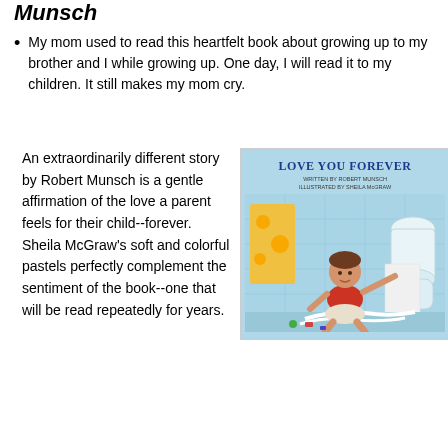Munsch
My mom used to read this heartfelt book about growing up to my brother and I while growing up. One day, I will read it to my children. It still makes my mom cry.
An extraordinarily different story by Robert Munsch is a gentle affirmation of the love a parent feels for their child--forever. Sheila McGraw’s soft and colorful pastels perfectly complement the sentiment of the book--one that will be read repeatedly for years.
[Figure (illustration): Book cover of 'Love You Forever' written by Robert Munsch, illustrated by Sheila McGraw. Shows a toddler boy sitting on a bathroom floor next to a toilet, with toilet paper unrolled around him and items scattered on the floor. The background is blue tile.]